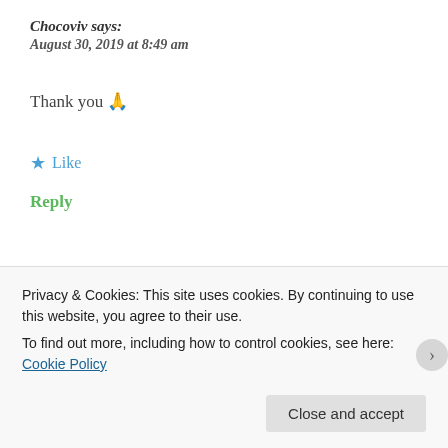Chocoviv says:
August 30, 2019 at 8:49 am
Thank you 🙏
★ Like
Reply
Dragthepen says:
Privacy & Cookies: This site uses cookies. By continuing to use this website, you agree to their use.
To find out more, including how to control cookies, see here: Cookie Policy
Close and accept